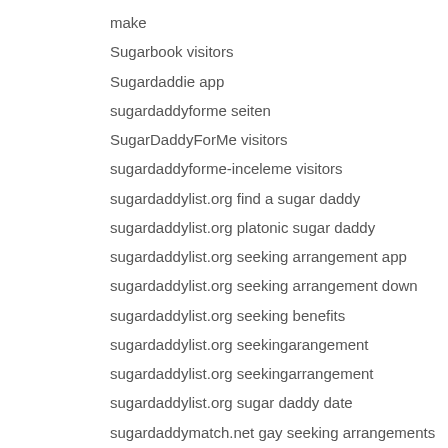make
Sugarbook visitors
Sugardaddie app
sugardaddyforme seiten
SugarDaddyForMe visitors
sugardaddyforme-inceleme visitors
sugardaddylist.org find a sugar daddy
sugardaddylist.org platonic sugar daddy
sugardaddylist.org seeking arrangement app
sugardaddylist.org seeking arrangement down
sugardaddylist.org seeking benefits
sugardaddylist.org seekingarangement
sugardaddylist.org seekingarrangement
sugardaddylist.org sugar daddy date
sugardaddymatch.net gay seeking arrangements